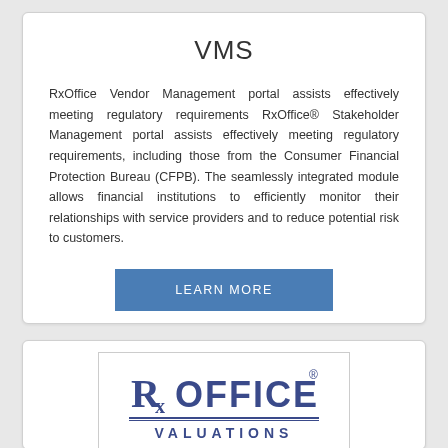VMS
RxOffice Vendor Management portal assists effectively meeting regulatory requirements RxOffice® Stakeholder Management portal assists effectively meeting regulatory requirements, including those from the Consumer Financial Protection Bureau (CFPB). The seamlessly integrated module allows financial institutions to efficiently monitor their relationships with service providers and to reduce potential risk to customers.
LEARN MORE
[Figure (logo): RxOffice Valuations logo — stylized Rx symbol followed by OFFICE in bold blue text with registered trademark symbol, double underline, and VALUATIONS text below in spaced capitals]